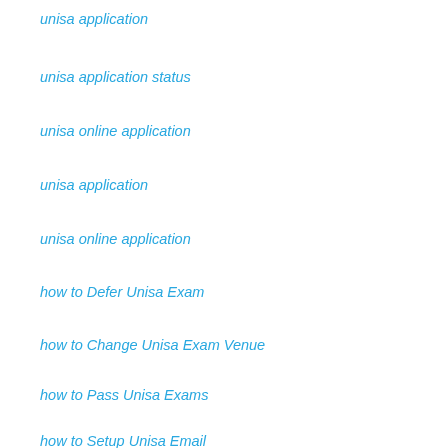unisa application
unisa application status
unisa online application
unisa application
unisa online application
how to Defer Unisa Exam
how to Change Unisa Exam Venue
how to Pass Unisa Exams
how to Setup Unisa Email
how to Enrol Unisa